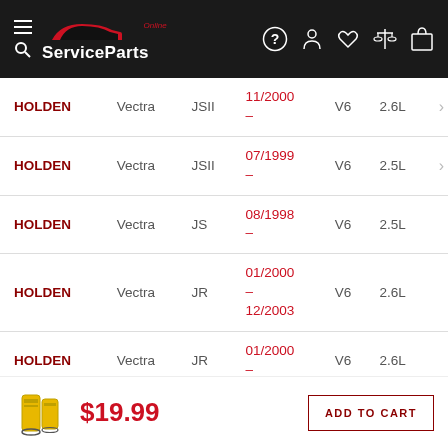ServiceParts Online
| Make | Model | Series | Date | Engine | Size |
| --- | --- | --- | --- | --- | --- |
| HOLDEN | Vectra | JSII | 11/2000 – | V6 | 2.6L |
| HOLDEN | Vectra | JSII | 07/1999 – | V6 | 2.5L |
| HOLDEN | Vectra | JS | 08/1998 – | V6 | 2.5L |
| HOLDEN | Vectra | JR | 01/2000 – 12/2003 | V6 | 2.6L |
| HOLDEN | Vectra | JR | 01/2000 – | V6 | 2.6L |
$19.99
ADD TO CART